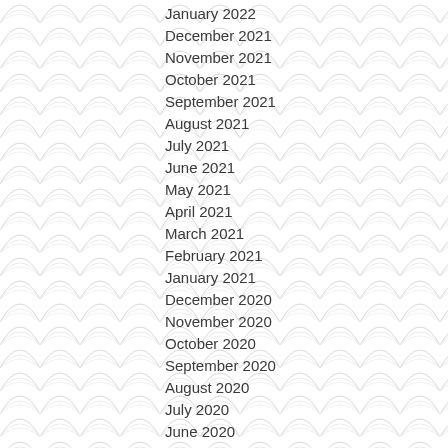January 2022
December 2021
November 2021
October 2021
September 2021
August 2021
July 2021
June 2021
May 2021
April 2021
March 2021
February 2021
January 2021
December 2020
November 2020
October 2020
September 2020
August 2020
July 2020
June 2020
May 2020
April 2020
March 2020